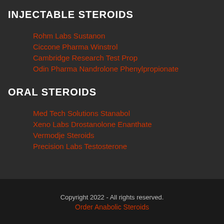INJECTABLE STEROIDS
Rohm Labs Sustanon
Ciccone Pharma Winstrol
Cambridge Research Test Prop
Odin Pharma Nandrolone Phenylpropionate
ORAL STEROIDS
Med Tech Solutions Stanabol
Xeno Labs Drostanolone Enanthate
Vermodje Steroids
Precision Labs Testosterone
Copyright 2022 - All rights reserved.
Order Anabolic Steroids